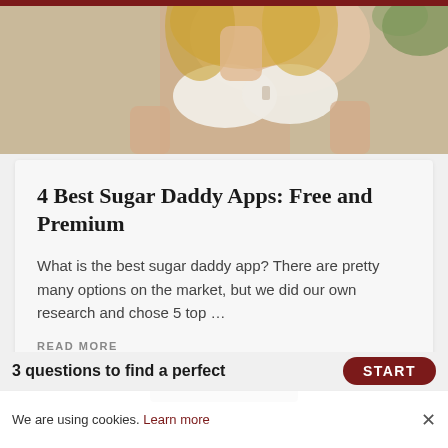[Figure (photo): Partial photo of a blonde woman in a white strapless top/bra, cropped at mid-torso, with a beige/tan background and some green foliage visible.]
4 Best Sugar Daddy Apps: Free and Premium
What is the best sugar daddy app? There are pretty many options on the market, but we did our own research and chose 5 top …
READ MORE
LOAD MORE
3 questions to find a perfect
We are using cookies. Learn more